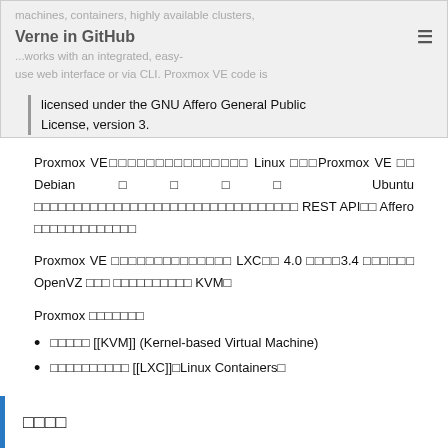Verne in GitHub
machines, containers, highly available clusters, ...
Verne in GitHub ...works with an integrated, easy-use web interface or via CLI. Proxmox VE code is licensed under the GNU Affero General Public License, version 3.
Proxmox VE□□□□□□□□□□□□□□□ Linux □□□Proxmox VE □□ Debian□□□□ Ubuntu □□□□□□□□□□□□□□□□□□□□□□□□□□□□□□□□□ REST API□□ Affero □□□□□□□□□□□□□
Proxmox VE □□□□□□□□□□□□□□ LXC□□ 4.0 □□□□3.4 □□□□□□ OpenVZ □□□ □□□□□□□□□□ KVM□
Proxmox □□□□□□□
□□□□□ [[KVM]] (Kernel-based Virtual Machine)
□□□□□□□□□□ [[LXC]]□Linux Containers□
□□□□